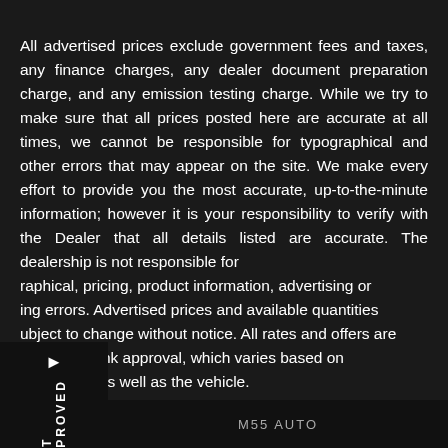All advertised prices exclude government fees and taxes, any finance charges, any dealer document preparation charge, and any emission testing charge. While we try to make sure that all prices posted here are accurate at all times, we cannot be responsible for typographical and other errors that may appear on the site. We make every effort to provide you the most accurate, up-to-the-minute information; however it is your responsibility to verify with the Dealer that all details listed are accurate. The dealership is not responsible for [typog]raphical, pricing, product information, advertising or [print]ing errors. Advertised prices and available quantities [are s]ubject to change without notice. All rates and offers are [depen]dent on bank approval, which varies based on [applic]ant's credit as well as the vehicle.
ilar
ct